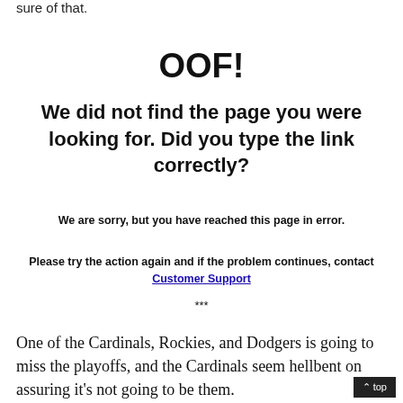sure of that.
OOF!
We did not find the page you were looking for. Did you type the link correctly?
We are sorry, but you have reached this page in error.
Please try the action again and if the problem continues, contact Customer Support
***
One of the Cardinals, Rockies, and Dodgers is going to miss the playoffs, and the Cardinals seem hellbent on assuring it's not going to be them.